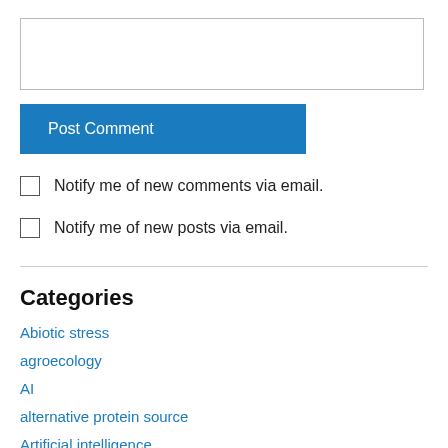[textarea box]
Post Comment
Notify me of new comments via email.
Notify me of new posts via email.
Categories
Abiotic stress
agroecology
AI
alternative protein source
Artificial intelligence
Awards
Biodiversity